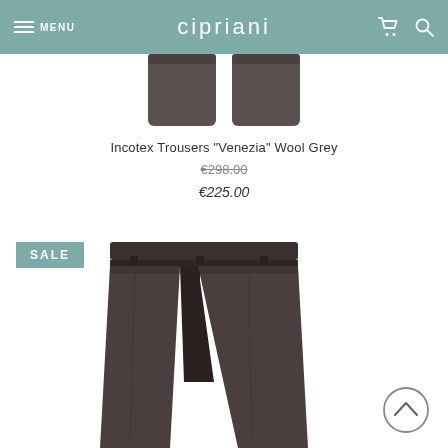MENU | cipriani
[Figure (photo): Partial tops of grey wool trouser legs, cropped at top of page]
Incotex Trousers "Venezia" Wool Grey
€298.00 (strikethrough original price)
€225.00 (sale price)
SALE
[Figure (photo): Dark charcoal/brown wool trousers (Incotex) laid flat showing waistband to lower leg]